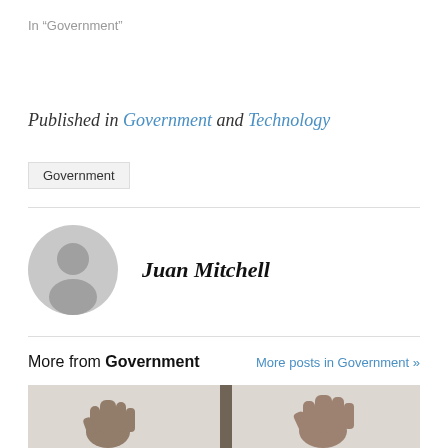In “Government”
Published in Government and Technology
Government
Juan Mitchell
More from Government
More posts in Government »
[Figure (photo): Two hands with decorative or painted patterns raised against a light background, with what appears to be a dark vertical object between them.]